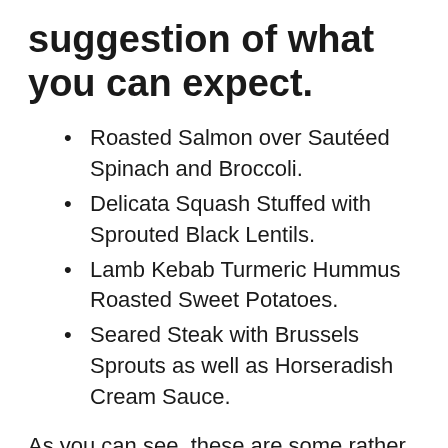suggestion of what you can expect.
Roasted Salmon over Sautéed Spinach and Broccoli.
Delicata Squash Stuffed with Sprouted Black Lentils.
Lamb Kebab Turmeric Hummus Roasted Sweet Potatoes.
Seared Steak with Brussels Sprouts as well as Horseradish Cream Sauce.
As you can see, these are some rather splendid, yet well balanced, dishes. They do not stop there. You can likewise include appetisers, snacks, breakfast, cupboard products, and also drinks to your box. This